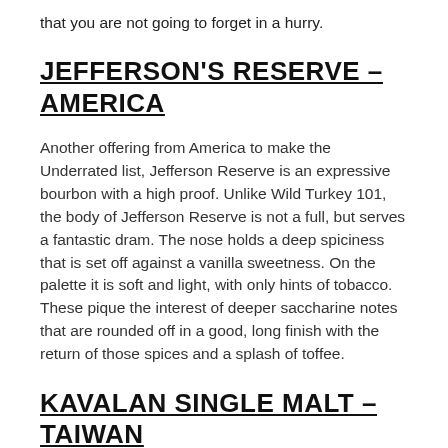that you are not going to forget in a hurry.
JEFFERSON'S RESERVE – AMERICA
Another offering from America to make the Underrated list, Jefferson Reserve is an expressive bourbon with a high proof. Unlike Wild Turkey 101, the body of Jefferson Reserve is not a full, but serves a fantastic dram. The nose holds a deep spiciness that is set off against a vanilla sweetness. On the palette it is soft and light, with only hints of tobacco. These pique the interest of deeper saccharine notes that are rounded off in a good, long finish with the return of those spices and a splash of toffee.
KAVALAN SINGLE MALT – TAIWAN
Coming from the only whisky distillery in Taiwan is